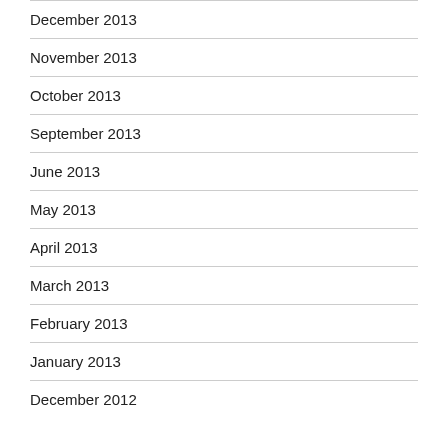December 2013
November 2013
October 2013
September 2013
June 2013
May 2013
April 2013
March 2013
February 2013
January 2013
December 2012